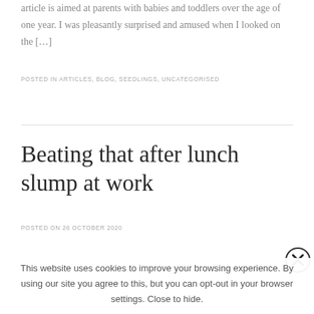article is aimed at parents with babies and toddlers over the age of one year. I was pleasantly surprised and amused when I looked on the […]
POSTED IN ARTICLES, BLOG, SEEDLINGS, UNCATEGORISED
Beating that after lunch slump at work
POSTED ON 26 OCTOBER 2020
This website uses cookies to improve your browsing experience. By using our site you agree to this, but you can opt-out in your browser settings. Close to hide.